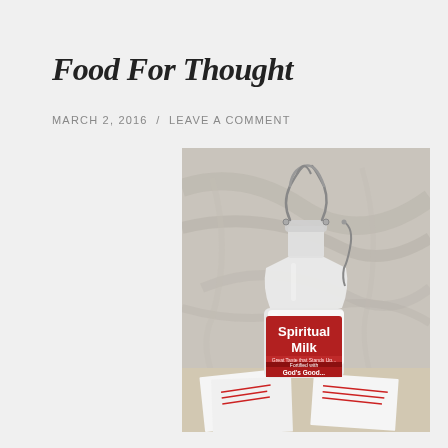Food For Thought
MARCH 2, 2016  /  LEAVE A COMMENT
[Figure (photo): A glass milk bottle with a swing-top lid, labeled 'Spiritual Milk - Fortified with God's Goodness', sitting on printed paper materials against a marble-like background.]